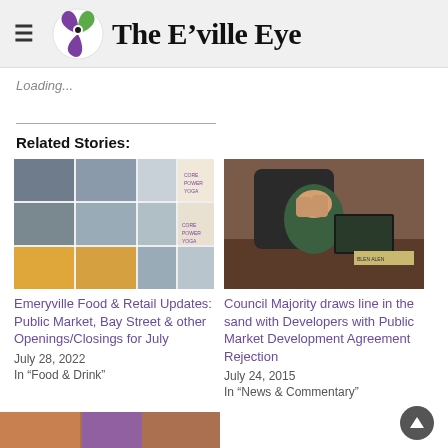The E'ville Eye
Loading...
Related Stories:
[Figure (photo): Collage of food and retail store photos from Emeryville public market]
Emeryville Food & Retail Updates: Public Market, Bay Street & other Openings/Closings for July
July 28, 2022
In "Food & Drink"
[Figure (photo): Person at council meeting with hands covering face]
Council Majority draws line in the sand with Developers with Public Market Development Agreement Rejection
July 24, 2015
In "News & Commentary"